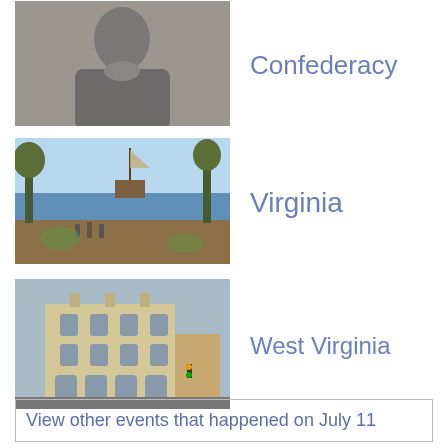[Figure (photo): Black and white portrait photo of a Civil War era military figure]
Confederacy
[Figure (photo): Painting of early colonial Virginia, ships in harbor with people on shore]
Virginia
[Figure (photo): Photo of a historic stone government building in West Virginia]
West Virginia
View other events that happened on July 11